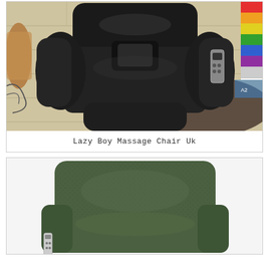[Figure (photo): Top-down view of a black leather recliner massage chair with armrests open, a remote control on the right armrest, set on a wooden floor with a dark shaggy rug and colorful items in the background.]
Lazy Boy Massage Chair Uk
[Figure (photo): A green fabric recliner chair with textured upholstery, shown from a front-angled view. A remote control is tucked into the side of the chair.]